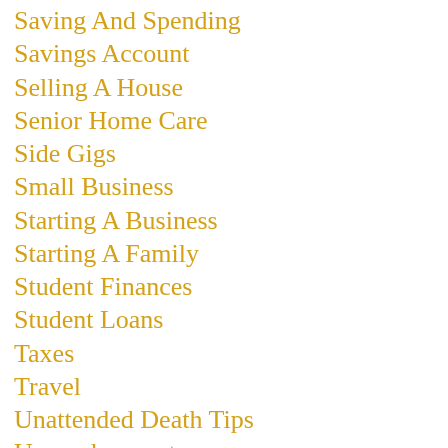Saving And Spending
Savings Account
Selling A House
Senior Home Care
Side Gigs
Small Business
Starting A Business
Starting A Family
Student Finances
Student Loans
Taxes
Travel
Unattended Death Tips
Unemployment
Unique Homes